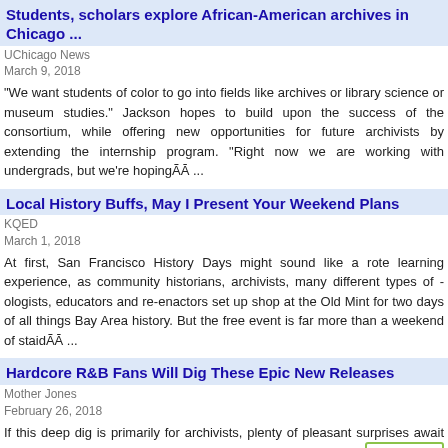Students, scholars explore African-American archives in Chicago ...
UChicago News
March 9, 2018
"We want students of color to go into fields like archives or library science or museum studies." Jackson hopes to build upon the success of the consortium, while offering new opportunities for future archivists by extending the internship program. “Right now we are working with undergrads, but we’re hopingÃĀ ...
Local History Buffs, May I Present Your Weekend Plans
KQED
March 1, 2018
At first, San Francisco History Days might sound like a rote learning experience, as community historians, archivists, many different types of -ologists, educators and re-enactors set up shop at the Old Mint for two days of all things Bay Area history. But the free event is far more than a weekend of staidÃĀ ...
Hardcore R&B Fans Will Dig These Epic New Releases
Mother Jones
February 26, 2018
If this deep dig is primarily for archivists, plenty of pleasant surprises await patient explorers. In contrast to the titanic legacy of Baltimore's tiny, underfunded Ru-Jac Records had virtually no impact on the R&B scene, though it was responsible for some fine music. Presenting